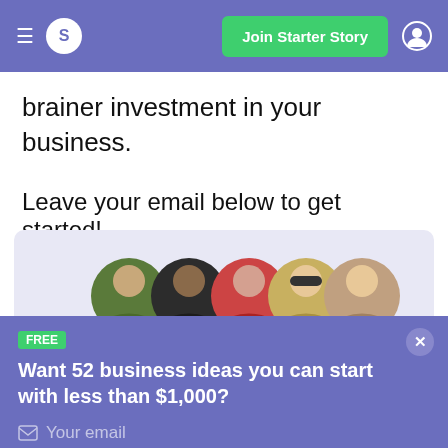Join Starter Story
brainer investment in your business.
Leave your email below to get started!
[Figure (photo): Row of circular profile photo avatars overlapping horizontally on a light purple background card]
FREE
Want 52 business ideas you can start with less than $1,000?
Your email
Send Now